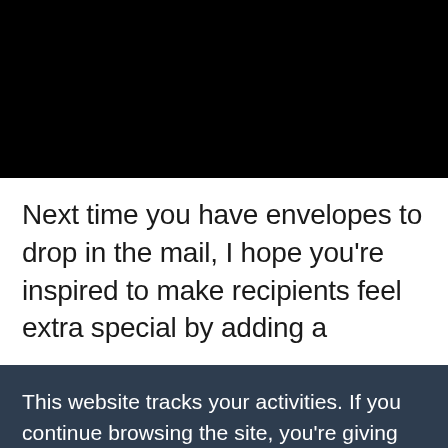[Figure (photo): Black image area at the top of the page]
Next time you have envelopes to drop in the mail, I hope you're inspired to make recipients feel extra special by adding a
This website tracks your activities. If you continue browsing the site, you're giving us consent to track your activity.
Continue Browsing